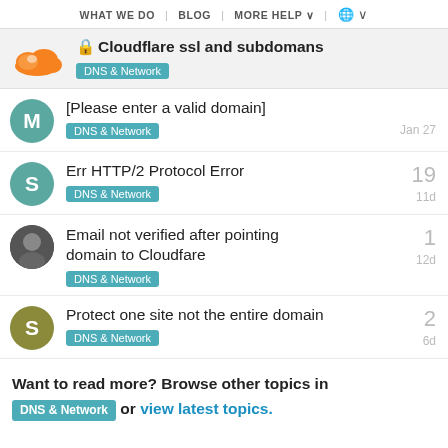WHAT WE DO | BLOG | MORE HELP | 🌐
🔒 Cloudflare ssl and subdomans — DNS & Network
[Please enter a valid domain] — DNS & Network — Jan 27
Err HTTP/2 Protocol Error — DNS & Network — 19 — 11d
Email not verified after pointing domain to Cloudfare — DNS & Network — 1 — 12d
Protect one site not the entire domain — DNS & Network — 2 — 6d
Want to read more? Browse other topics in DNS & Network or view latest topics.